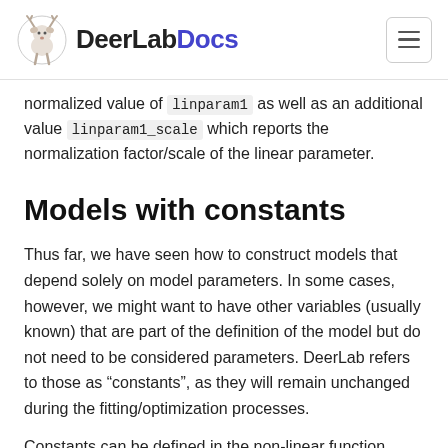DeerLabDocs
normalized value of linparam1 as well as an additional value linparam1_scale which reports the normalization factor/scale of the linear parameter.
Models with constants
Thus far, we have seen how to construct models that depend solely on model parameters. In some cases, however, we might want to have other variables (usually known) that are part of the definition of the model but do not need to be considered parameters. DeerLab refers to those as “constants”, as they will remain unchanged during the fitting/optimization processes.
Constants can be defined in the non-linear function along with the other non-linear parameters. Constants need to be